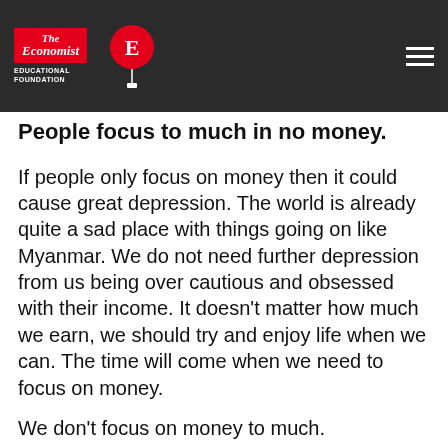The Economist Educational Foundation
People focus to much in no money.
If people only focus on money then it could cause great depression. The world is already quite a sad place with things going on like Myanmar. We do not need further depression from us being over cautious and obsessed with their income. It doesn't matter how much we earn, we should try and enjoy life when we can. The time will come when we need to focus on money.
We don't focus on money to much.
We know money is precious so we must look after it. If we don't pay attention to it, who knows what will happen? Our life depends on our income whether we